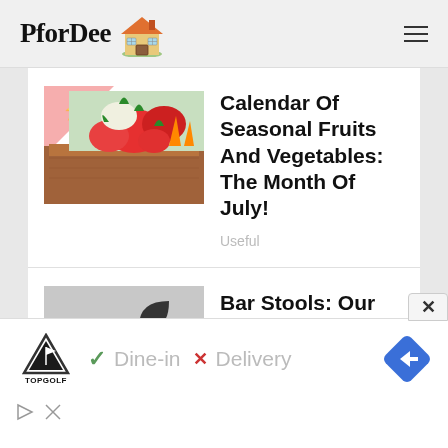PforDee
Calendar Of Seasonal Fruits And Vegetables: The Month Of July!
Useful
Bar Stools: Our Highly Desirable Selection
Comments
[Figure (screenshot): Partial third article thumbnail, mostly cut off]
[Figure (screenshot): TopGolf advertisement banner showing Dine-in (checkmark) and Delivery (X) options with navigation arrow icon]